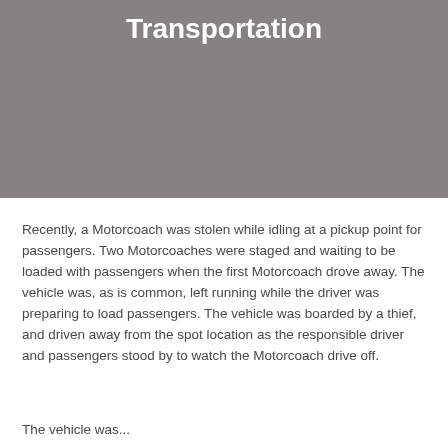[Figure (photo): Gray image block with white bold title text partially visible at top, showing end of a word likely 'Transportation' or similar]
Recently, a Motorcoach was stolen while idling at a pickup point for passengers. Two Motorcoaches were staged and waiting to be loaded with passengers when the first Motorcoach drove away. The vehicle was, as is common, left running while the driver was preparing to load passengers. The vehicle was boarded by a thief, and driven away from the spot location as the responsible driver and passengers stood by to watch the Motorcoach drive off.
The vehicle was...